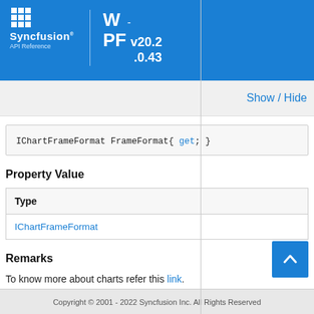Syncfusion API Reference WPF - v20.2.0.43
Show / Hide
IChartFrameFormat FrameFormat { get; }
Property Value
| Type |
| --- |
| IChartFrameFormat |
Remarks
To know more about charts refer this link.
Copyright © 2001 - 2022 Syncfusion Inc. All Rights Reserved